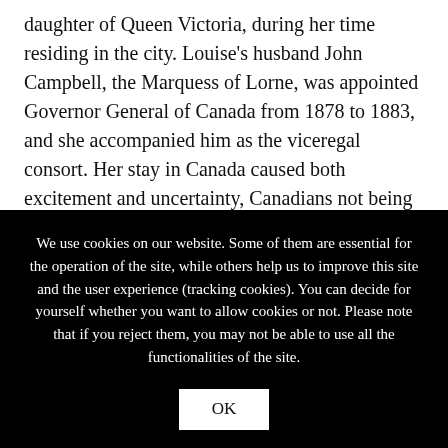daughter of Queen Victoria, during her time residing in the city. Louise's husband John Campbell, the Marquess of Lorne, was appointed Governor General of Canada from 1878 to 1883, and she accompanied him as the viceregal consort. Her stay in Canada caused both excitement and uncertainty, Canadians not being accustomed to having royalty reside there, but left an enduring legacy: Lake
We use cookies on our website. Some of them are essential for the operation of the site, while others help us to improve this site and the user experience (tracking cookies). You can decide for yourself whether you want to allow cookies or not. Please note that if you reject them, you may not be able to use all the functionalities of the site.
OK